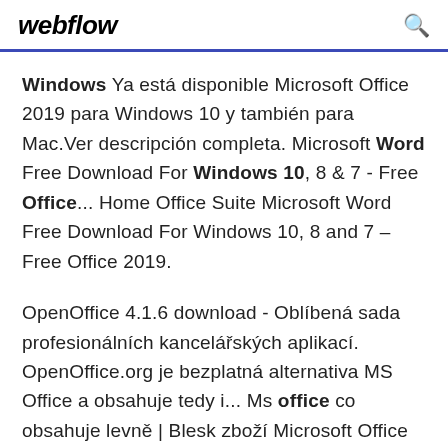webflow
Windows Ya está disponible Microsoft Office 2019 para Windows 10 y también para Mac.Ver descripción completa. Microsoft Word Free Download For Windows 10, 8 & 7 - Free Office... Home Office Suite Microsoft Word Free Download For Windows 10, 8 and 7 – Free Office 2019.
OpenOffice 4.1.6 download - Oblíbená sada profesionálních kancelářských aplikací. OpenOffice.org je bezplatná alternativa MS Office a obsahuje tedy i... Ms office co obsahuje levně | Blesk zboží Microsoft Office Home and Business 2019 se nejlépe hodí pro uživatele, kteří využívají Office, Outlook, a více.